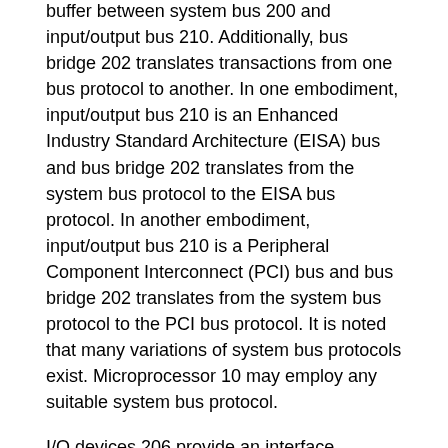buffer between system bus 200 and input/output bus 210. Additionally, bus bridge 202 translates transactions from one bus protocol to another. In one embodiment, input/output bus 210 is an Enhanced Industry Standard Architecture (EISA) bus and bus bridge 202 translates from the system bus protocol to the EISA bus protocol. In another embodiment, input/output bus 210 is a Peripheral Component Interconnect (PCI) bus and bus bridge 202 translates from the system bus protocol to the PCI bus protocol. It is noted that many variations of system bus protocols exist. Microprocessor 10 may employ any suitable system bus protocol.
I/O devices 206 provide an interface between computer system 200 and other devices external to the computer system. Exemplary I/O devices include a modem, a serial or parallel port a sound card, etc. I/O devices 206 may also be referred to as peripheral devices. Main memory 204 stores data and instructions for use by microprocessor 10. In one embodiment, main memory 204 includes at least one Dynamic Random Access Memory (DRAM) and a DRAM memory controller.
It is noted that although computer system 200 as shown in